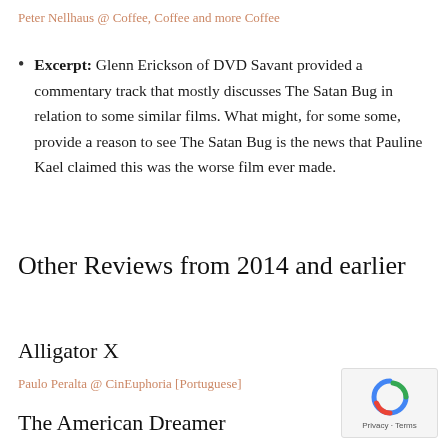Peter Nellhaus @ Coffee, Coffee and more Coffee
Excerpt: Glenn Erickson of DVD Savant provided a commentary track that mostly discusses The Satan Bug in relation to some similar films. What might, for some some, provide a reason to see The Satan Bug is the news that Pauline Kael claimed this was the worse film ever made.
Other Reviews from 2014 and earlier
Alligator X
Paulo Peralta @ CinEuphoria [Portuguese]
The American Dreamer